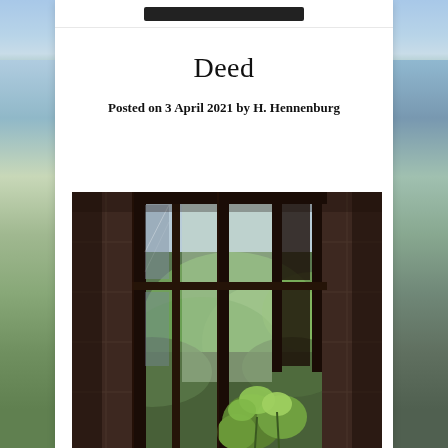Deed
Posted on 3 April 2021 by H. Hennenburg
[Figure (photo): Photograph of an old, dilapidated window with dark deteriorating wooden frames, partially open, with green foliage and plants visible through and around the window. The interior wall shows aged tiles. Light from outside illuminates green leaves and vegetation growing near the window.]